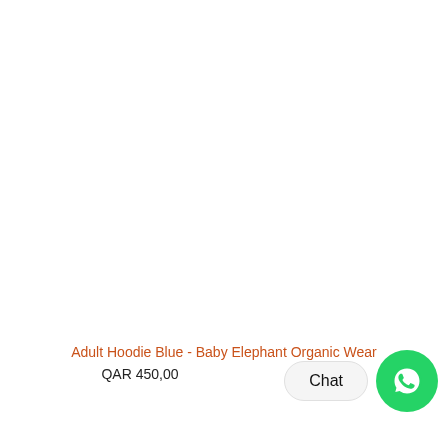Adult Hoodie Blue - Baby Elephant Organic Wear
QAR 450,00
[Figure (other): Chat button with WhatsApp icon]